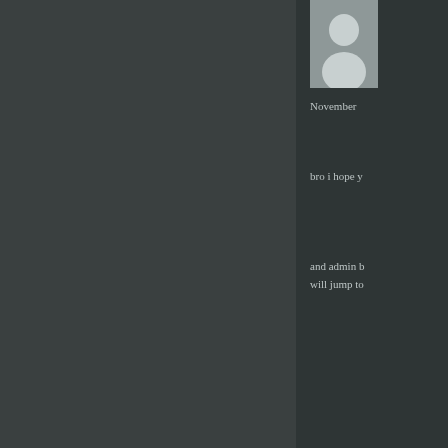[Figure (illustration): User avatar silhouette placeholder image in grey tones]
November
bro i hope y
and admin b
will jump to
Leave a Reply
Your email address will not be pu
Comment *
[Figure (screenshot): Comment text input textarea (dark background form element)]